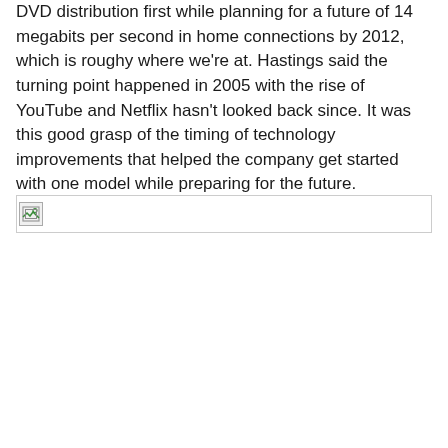DVD distribution first while planning for a future of 14 megabits per second in home connections by 2012, which is roughy where we're at. Hastings said the turning point happened in 2005 with the rise of YouTube and Netflix hasn't looked back since. It was this good grasp of the timing of technology improvements that helped the company get started with one model while preparing for the future.
[Figure (photo): Broken/missing image placeholder with a small image icon in the top-left corner]